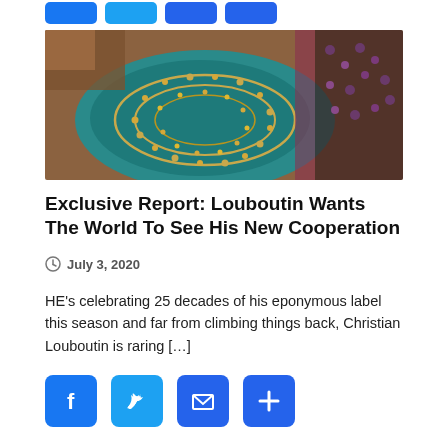[Figure (illustration): Social share button icons (Facebook, Twitter, email, more) at top of page, partially visible]
[Figure (photo): Close-up photograph of ornate embroidered fabric or shoe with colorful teal/blue embroidery, gold beads and sequins, and patterned textile]
Exclusive Report: Louboutin Wants The World To See His New Cooperation
July 3, 2020
HE's celebrating 25 decades of his eponymous label this season and far from climbing things back, Christian Louboutin is raring […]
[Figure (infographic): Social share buttons: Facebook (blue), Twitter (light blue), Email (blue), More/Plus (blue)]